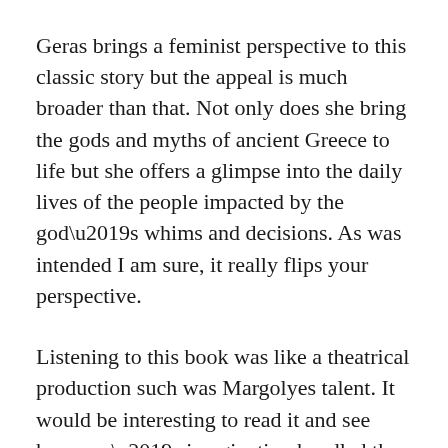Geras brings a feminist perspective to this classic story but the appeal is much broader than that. Not only does she bring the gods and myths of ancient Greece to life but she offers a glimpse into the daily lives of the people impacted by the god’s whims and decisions. As was intended I am sure, it really flips your perspective.
Listening to this book was like a theatrical production such was Margolyes talent. It would be interesting to read it and see how one’s imagination handled the same characters and interactions to life. But anyone with an interest in classical mythology or ancient history will want to check this out if they haven’t already. For more mature YA readers this would be a great